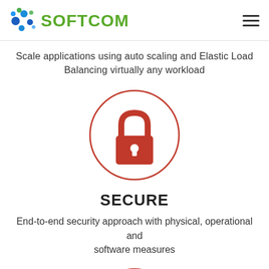SOFTCOM
Scale applications using auto scaling and Elastic Load Balancing virtually any workload
[Figure (illustration): Red padlock icon inside a red circle outline, representing security]
SECURE
End-to-end security approach with physical, operational and software measures
[Figure (illustration): Partial red circle with an arrow icon partially visible at the bottom of the page]